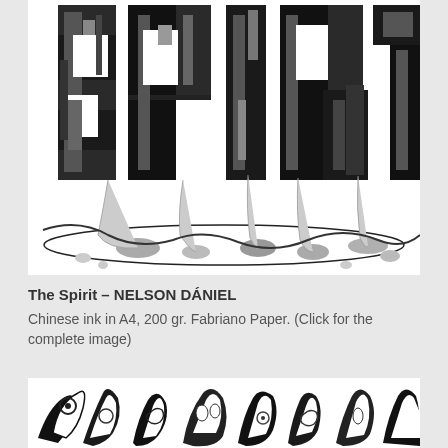[Figure (illustration): Black and white Chinese ink illustration showing large bold 3D letters spelling 'SPIRIT' with ink drips and splashes at the bottom, rendered in a dramatic graphic art style on white paper.]
The Spirit – NELSON DÁNIEL
Chinese ink in A4, 200 gr. Fabriano Paper. (Click for the complete image)
[Figure (illustration): Black and white Chinese ink illustration showing abstract organic figures with swirling and angular shapes, visible at the bottom of the page.]